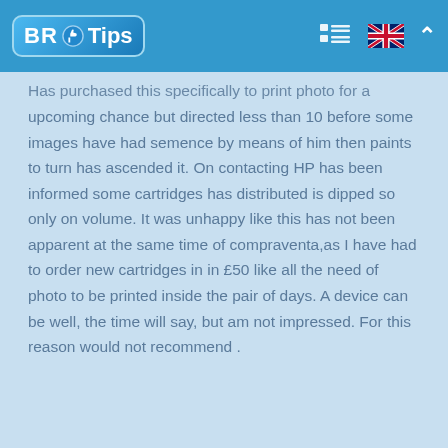BR Tips
Has purchased this specifically to print photo for a upcoming chance but directed less than 10 before some images have had semence by means of him then paints to turn has ascended it. On contacting HP has been informed some cartridges has distributed is dipped so only on volume. It was unhappy like this has not been apparent at the same time of compraventa,as I have had to order new cartridges in in £50 like all the need of photo to be printed inside the pair of days. A device can be well, the time will say, but am not impressed. For this reason would not recommend .